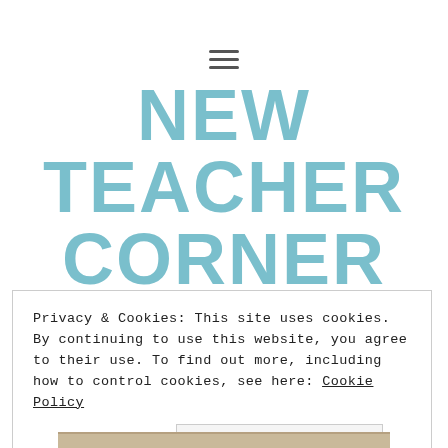≡
NEW TEACHER CORNER
New Teachers are my favorite teachers.
Privacy & Cookies: This site uses cookies. By continuing to use this website, you agree to their use. To find out more, including how to control cookies, see here: Cookie Policy
Close and accept